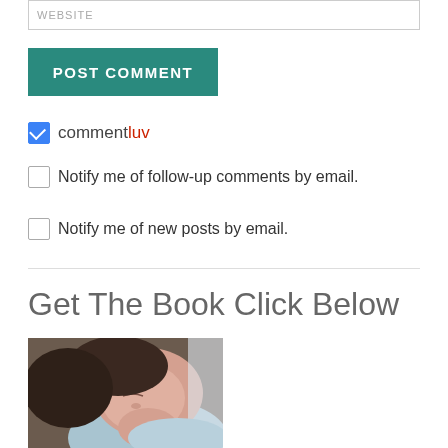WEBSITE
POST COMMENT
commentluv
Notify me of follow-up comments by email.
Notify me of new posts by email.
Get The Book Click Below
[Figure (photo): Photo of a sleeping newborn baby being held, showing the baby's head resting on what appears to be an adult's shoulder or chest]